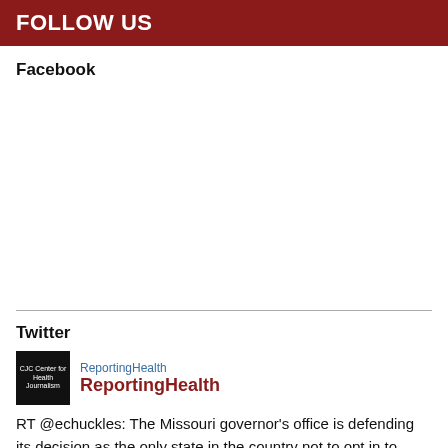FOLLOW US
Facebook
Twitter
ReportingHealth
ReportingHealth
RT @echuckles: The Missouri governor's office is defending its decision as the only state in the country not to opt in to